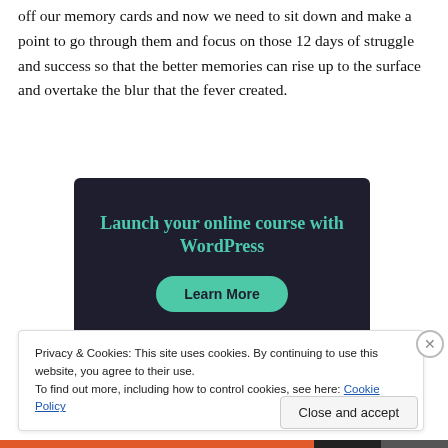off our memory cards and now we need to sit down and make a point to go through them and focus on those 12 days of struggle and success so that the better memories can rise up to the surface and overtake the blur that the fever created.
[Figure (infographic): Dark navy advertisement banner: 'Launch your online course with WordPress' with a teal 'Learn More' button]
Privacy & Cookies: This site uses cookies. By continuing to use this website, you agree to their use.
To find out more, including how to control cookies, see here: Cookie Policy
Close and accept